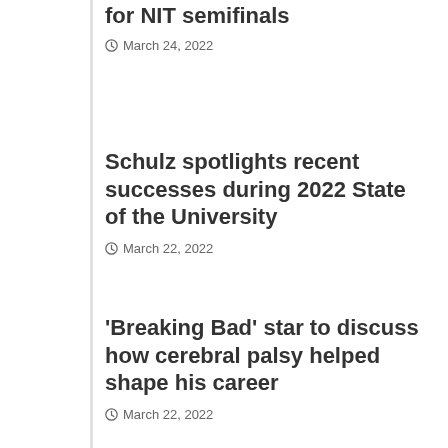for NIT semifinals
March 24, 2022
Schulz spotlights recent successes during 2022 State of the University
March 22, 2022
'Breaking Bad' star to discuss how cerebral palsy helped shape his career
March 22, 2022